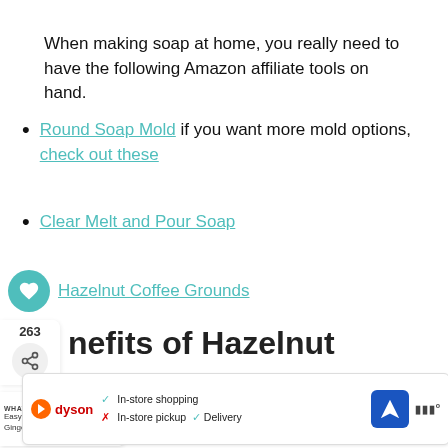When making soap at home, you really need to have the following Amazon affiliate tools on hand.
Round Soap Mold if you want more mold options, check out these
Clear Melt and Pour Soap
Hazelnut Coffee Grounds
nefits of Hazelnut
et hazelnut oil the nuts are put through a machine called a press that actually squeezes out the oil from the nut. The oil is in most co...